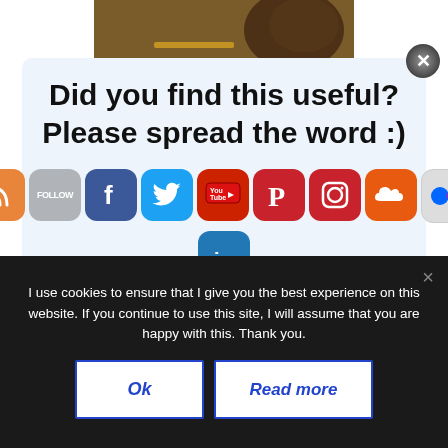[Figure (photo): Photo of coffee cup, pencil and dark objects on wooden table, cropped at top of page]
Did you find this useful? Please spread the word :)
[Figure (infographic): Row of social media icon buttons: RSS (orange), Follow (gray), Facebook (blue), Twitter (teal), YouTube (red), Pinterest (red), Instagram (red), SoundCloud (orange), Flickr (gray), LinkedIn (blue teal)]
Need a professional book cover design!
I use cookies to ensure that I give you the best experience on this website. If you continue to use this site, I will assume that you are happy with this. Thank you.
Ok
Read more